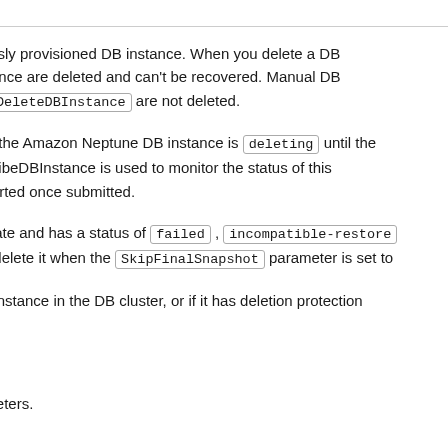viously provisioned DB instance. When you delete a DB instance are deleted and can't be recovered. Manual DB by DeleteDBInstance are not deleted.
s of the Amazon Neptune DB instance is deleting until the escribeDBInstance is used to monitor the status of this reverted once submitted.
e state and has a status of failed , incompatible-restore nly delete it when the SkipFinalSnapshot parameter is set to
nly instance in the DB cluster, or if it has deletion protection
rameters.